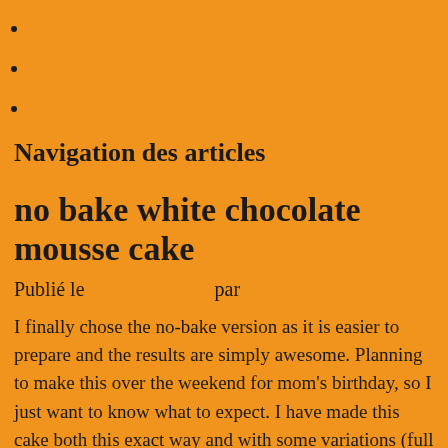Navigation des articles
no bake white chocolate mousse cake
Publié le                    par
I finally chose the no-bake version as it is easier to prepare and the results are simply awesome. Planning to make this over the weekend for mom's birthday, so I just want to know what to expect. I have made this cake both this exact way and with some variations (full semi-sweet chocolate for example) several times over the last few years. Make the mousse. Put it back to the fridge. Besides my moist pumpkin cupcakes, no-bake pumpkin dessert are my favorite thing to make this time of year. This website uses cookies to improve your experience. Well this dessert was OMG awesome. I never get tired of pumpkin desserts. if i am having a party, can i leave it out on display for 2 hours before we eat it? I don't see percentages. In a medium bowl, beat the whipping cream